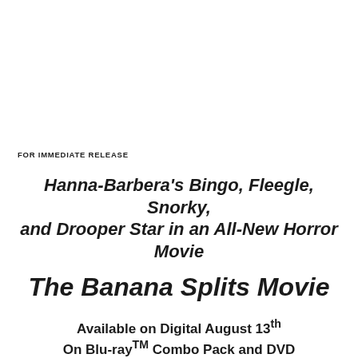FOR IMMEDIATE RELEASE
Hanna-Barbera's Bingo, Fleegle, Snorky, and Drooper Star in an All-New Horror Movie
The Banana Splits Movie
Available on Digital August 13th
On Blu-ray™ Combo Pack and DVD